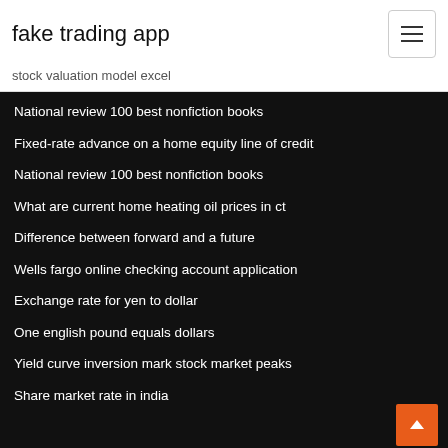fake trading app
stock valuation model excel
National review 100 best nonfiction books
Fixed-rate advance on a home equity line of credit
National review 100 best nonfiction books
What are current home heating oil prices in ct
Difference between forward and a future
Wells fargo online checking account application
Exchange rate for yen to dollar
One english pound equals dollars
Yield curve inversion mark stock market peaks
Share market rate in india